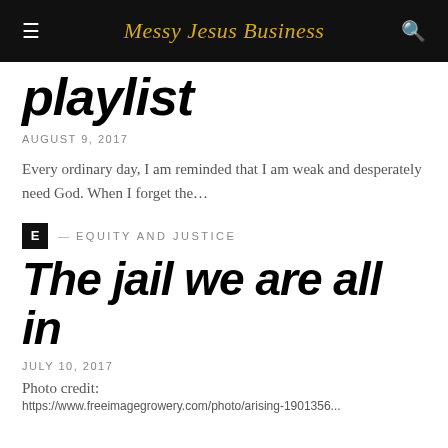Messy Jesus Business
playlist
AUGUST 9, 2017
Every ordinary day, I am reminded that I am weak and desperately need God. When I forget the…
E — EQUITY AND JUSTICE
The jail we are all in
JULY 10, 2017
Photo credit:
https://www.freeimagegrowery.com/photo/arising-1901356...